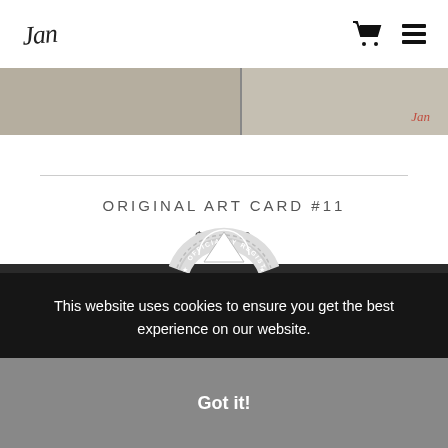[Figure (photo): Top portion of an art card product image showing two textured stone/paper surfaces side by side with a red signature on the right panel.]
logo and navigation icons (cart, menu)
ORIGINAL ART CARD #11
$24.00
[Figure (logo): Officially Registered circular badge/stamp logo with mountain graphic in center.]
This website uses cookies to ensure you get the best experience on our website.
Got it!